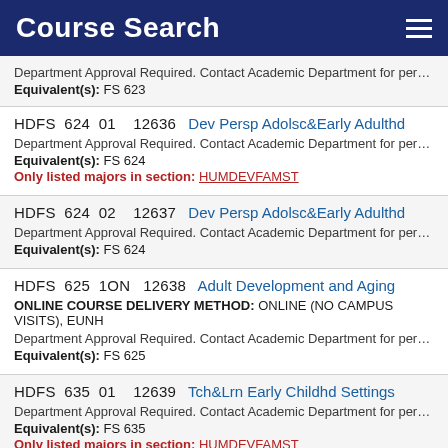Course Search
Department Approval Required. Contact Academic Department for permission then r
Equivalent(s): FS 623
HDFS 624 01 12636 Dev Persp Adolsc&Early Adulthd
Department Approval Required. Contact Academic Department for permission then r
Equivalent(s): FS 624
Only listed majors in section: HUMDEVFAMST
HDFS 624 02 12637 Dev Persp Adolsc&Early Adulthd
Department Approval Required. Contact Academic Department for permission then r
Equivalent(s): FS 624
HDFS 625 1ON 12638 Adult Development and Aging
ONLINE COURSE DELIVERY METHOD: ONLINE (NO CAMPUS VISITS), EUNH
Department Approval Required. Contact Academic Department for permission then r
Equivalent(s): FS 625
HDFS 635 01 12639 Tch&Lrn Early Childhd Settings
Department Approval Required. Contact Academic Department for permission then r
Equivalent(s): FS 635
Only listed majors in section: HUMDEVFAMST
HDFS 641 1ON 12666 Parenting Across the Life S...